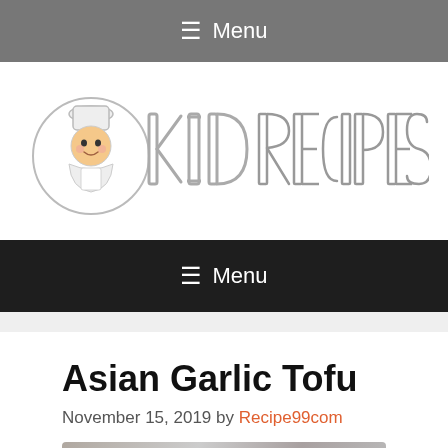☰ Menu
[Figure (logo): KID RECIPES logo with cartoon chef child mascot and decorative hand-drawn style lettering]
☰ Menu
Asian Garlic Tofu
November 15, 2019 by Recipe99com
[Figure (photo): Partial view of Asian Garlic Tofu dish photo]